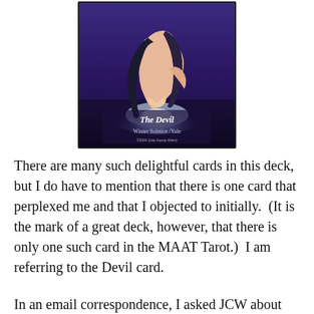[Figure (illustration): Tarot card illustration titled 'The Devil, Winter Solstice/Yule'. Shows a nude figure with dark hair hunched over a glowing light source against a purple/dark background. Small copyright text at bottom reads '©2004 Julia Garcia Wiertz'.]
There are many such delightful cards in this deck, but I do have to mention that there is one card that perplexed me and that I objected to initially.  (It is the mark of a great deck, however, that there is only one such card in the MAAT Tarot.)  I am referring to the Devil card.
In an email correspondence, I asked JCW about this card